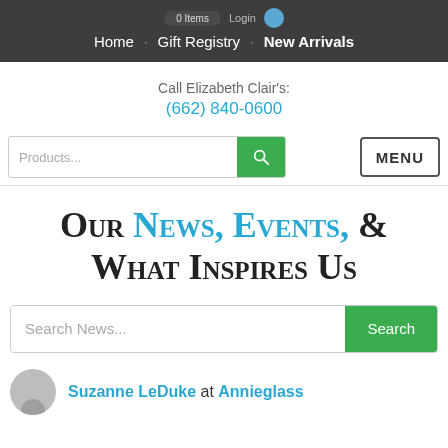Home · Gift Registry · New Arrivals
Call Elizabeth Clair's:
(662) 840-0600
[Figure (screenshot): Product search bar with green search button and MENU button]
Our News, Events, & What Inspires Us
[Figure (screenshot): Search News input field with green Search button]
Suzanne LeDuke at Annieglass